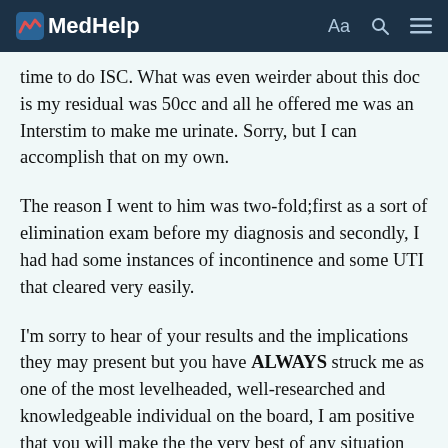MedHelp
time to do ISC. What was even weirder about this doc is my residual was 50cc and all he offered me was an Interstim to make me urinate. Sorry, but I can accomplish that on my own.
The reason I went to him was two-fold;first as a sort of elimination exam before my diagnosis and secondly, I had had some instances of incontinence and some UTI that cleared very easily.
I'm sorry to hear of your results and the implications they may present but you have ALWAYS struck me as one of the most levelheaded, well-researched and knowledgeable individual on the board, I am positive that you will make the the very best of any situation thrown your way.